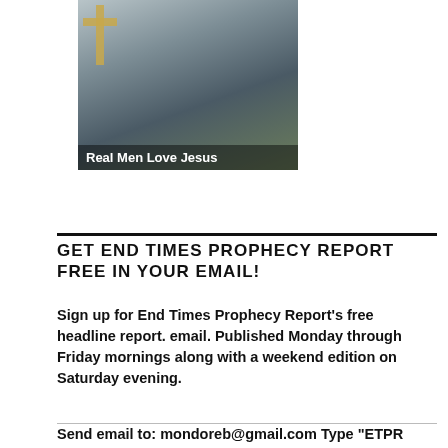[Figure (illustration): Illustration of a rugged man wearing a cowboy hat with a cross behind him, text overlay reading 'Real Men Love Jesus']
GET END TIMES PROPHECY REPORT FREE IN YOUR EMAIL!
Sign up for End Times Prophecy Report's free headline report. email. Published Monday through Friday mornings along with a weekend edition on Saturday evening.
Send email to: mondoreb@gmail.com Type "ETPR MAIL" in the Subject line.